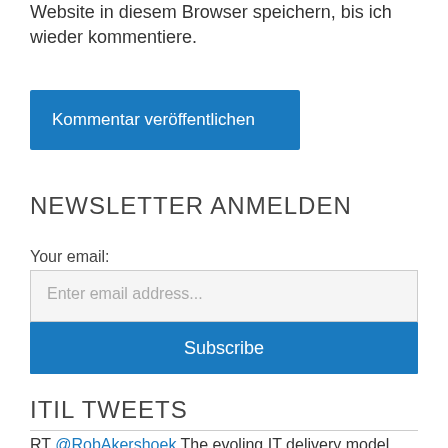Website in diesem Browser speichern, bis ich wieder kommentiere.
Kommentar veröffentlichen
NEWSLETTER ANMELDEN
Your email:
Enter email address...
Subscribe
ITIL TWEETS
RT @RobAkershoek The evoling IT delivery model